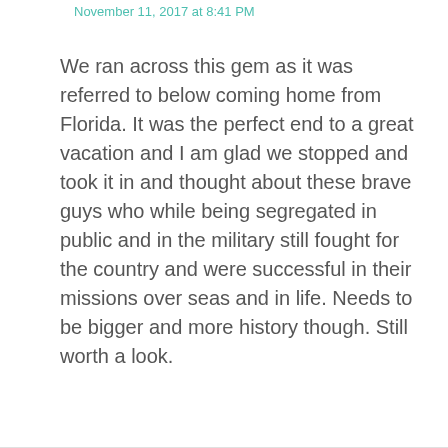November 11, 2017 at 8:41 PM
We ran across this gem as it was referred to below coming home from Florida. It was the perfect end to a great vacation and I am glad we stopped and took it in and thought about these brave guys who while being segregated in public and in the military still fought for the country and were successful in their missions over seas and in life. Needs to be bigger and more history though. Still worth a look.
Reply